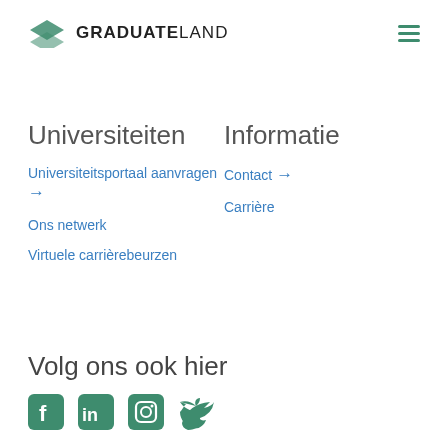GRADUATELAND
Universiteiten
Universiteitsportaal aanvragen →
Ons netwerk
Virtuele carrièrebeurzen
Informatie
Contact →
Carrière
Volg ons ook hier